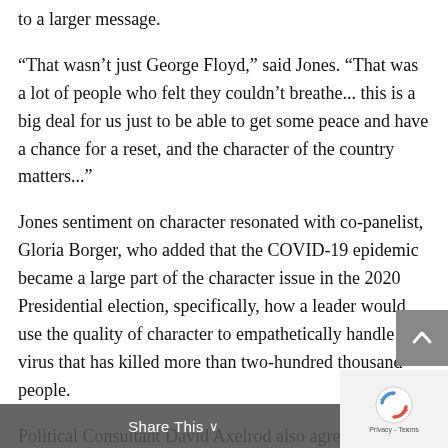to a larger message.
“That wasn’t just George Floyd,” said Jones. “That was a lot of people who felt they couldn’t breathe... this is a big deal for us just to be able to get some peace and have a chance for a reset, and the character of the country matters...”
Jones sentiment on character resonated with co-panelist, Gloria Borger, who added that the COVID-19 epidemic became a large part of the character issue in the 2020 Presidential election, specifically, how a leader would use the quality of character to empathetically handle a virus that has killed more than two-hundred thousand people.
Political Consultant David Axelrod also agreed w... Jones, adding that Biden has qualities like